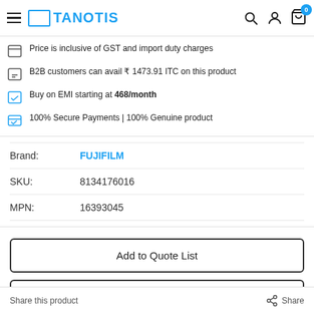TANOTIS
Price is inclusive of GST and import duty charges
B2B customers can avail ₹ 1473.91 ITC on this product
Buy on EMI starting at 468/month
100% Secure Payments | 100% Genuine product
| Field | Value |
| --- | --- |
| Brand: | FUJIFILM |
| SKU: | 8134176016 |
| MPN: | 16393045 |
Add to Quote List
Submit Quote Request
Share this product   Share